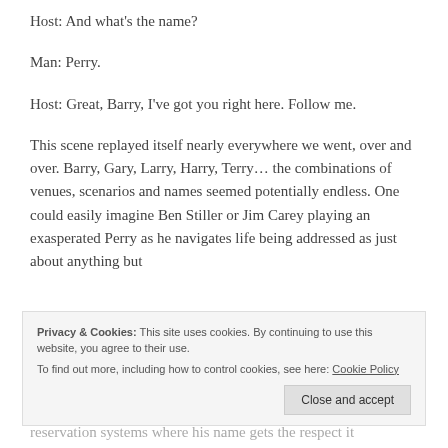Host: And what’s the name?
Man: Perry.
Host: Great, Barry, I’ve got you right here. Follow me.
This scene replayed itself nearly everywhere we went, over and over. Barry, Gary, Larry, Harry, Terry… the combinations of venues, scenarios and names seemed potentially endless. One could easily imagine Ben Stiller or Jim Carey playing an exasperated Perry as he navigates life being addressed as just about anything but
Privacy & Cookies: This site uses cookies. By continuing to use this website, you agree to their use.
To find out more, including how to control cookies, see here: Cookie Policy
reservation systems where his name gets the respect it